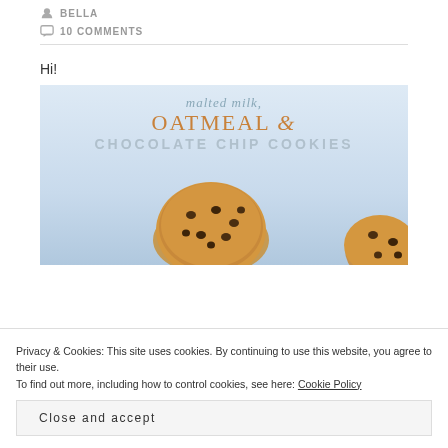BELLA
10 COMMENTS
Hi!
[Figure (photo): Malted milk, Oatmeal & Chocolate Chip Cookies - food blog header image with cookies and text overlay on light blue background]
Privacy & Cookies: This site uses cookies. By continuing to use this website, you agree to their use.
To find out more, including how to control cookies, see here: Cookie Policy
Close and accept